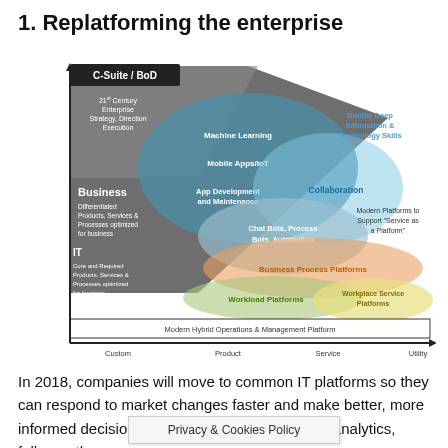1. Replatforming the enterprise
[Figure (infographic): A 2D diagram with Y-axis labeled 'C-Suite / BoD' at top and 'IT' at bottom, X-axis labeled 'Maturity of Approaches' with values Custom, Product, Service, Utility. Overlapping colored ellipses represent platform layers: Machine Learning, Mobile Apps/IoT, App Development and Maintenance (dark blue/teal ellipse); Collaboration; Chat Bots, Process Bots, Automation; Business Process Platforms (orange ellipse); Workload Platforms (green ellipse); Workplace Service Platforms (yellow ellipse). Dark grey background area labeled Business with text 'Differentiated Products, Services & Processes optimized for business' and IT area text 'Core and Required Products, Services & Processes optimized for business'. Top-left grey area shows '21st Century Enterprise Strategy, Direction Execution'. Blue callout: 'Double Deep Information & Technology Skills'. Right callout: 'Modern Platforms to Support "Service as a Platform"'. Bottom bar: 'Modern Hybrid Operations & Management Platform'.]
In 2018, companies will move to common IT platforms so they can respond to market changes faster and make better, more informed decisions. These platforms are rich in analytics, follow... the